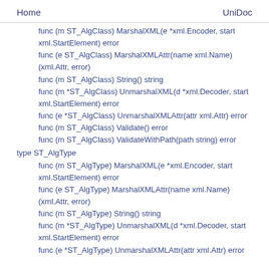Home    UniDoc
func (m ST_AlgClass) MarshalXML(e *xml.Encoder, start xml.StartElement) error
func (e ST_AlgClass) MarshalXMLAttr(name xml.Name) (xml.Attr, error)
func (m ST_AlgClass) String() string
func (m *ST_AlgClass) UnmarshalXML(d *xml.Decoder, start xml.StartElement) error
func (e *ST_AlgClass) UnmarshalXMLAttr(attr xml.Attr) error
func (m ST_AlgClass) Validate() error
func (m ST_AlgClass) ValidateWithPath(path string) error
type ST_AlgType
func (m ST_AlgType) MarshalXML(e *xml.Encoder, start xml.StartElement) error
func (e ST_AlgType) MarshalXMLAttr(name xml.Name) (xml.Attr, error)
func (m ST_AlgType) String() string
func (m *ST_AlgType) UnmarshalXML(d *xml.Decoder, start xml.StartElement) error
func (e *ST_AlgType) UnmarshalXMLAttr(attr xml.Attr) error